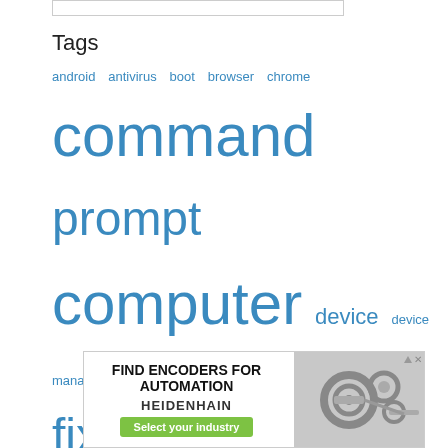Tags
android antivirus boot browser chrome command prompt computer device device manager driver error error code file fix fix netflix fix windows folder game google chrome install internet connection laptop mac microsoft netflix app network office 365 restart router settings software steam client streaming task
[Figure (other): Advertisement banner: FIND ENCODERS FOR AUTOMATION - HEIDENHAIN, Select your industry button, with machinery/encoder images]